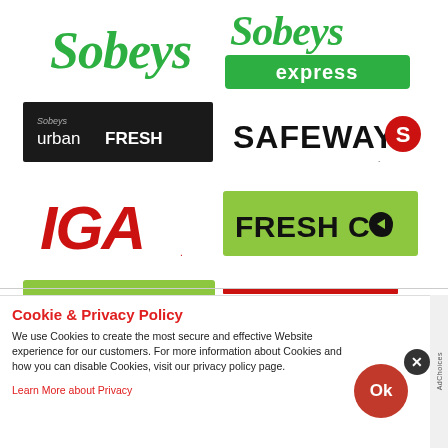[Figure (logo): Sobeys logo - green italic script text on white background]
[Figure (logo): Sobeys Express logo - green italic script text above white 'express' text on green rectangle]
[Figure (logo): Sobeys Urban Fresh logo - white text on black rectangle]
[Figure (logo): Safeway logo - black bold SAFEWAY text with red S icon]
[Figure (logo): IGA logo - red bold italic IGA text]
[Figure (logo): FreshCo logo - dark text on yellow-green rectangle with arrow icon]
[Figure (logo): Chalo! FreshCo logo - black text on yellow-green rectangle]
[Figure (logo): Foodland logo - dark red bold text]
[Figure (logo): Partial logo at bottom - green text partially visible]
Cookie & Privacy Policy
We use Cookies to create the most secure and effective Website experience for our customers. For more information about Cookies and how you can disable Cookies, visit our privacy policy page.
Learn More about Privacy